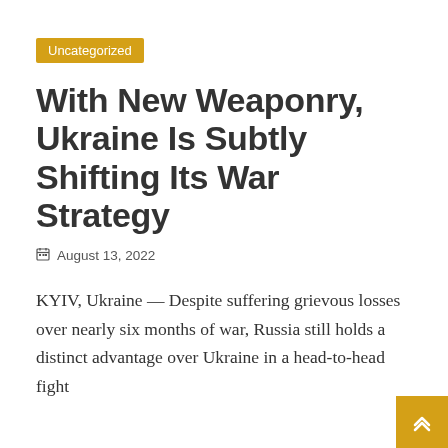Uncategorized
With New Weaponry, Ukraine Is Subtly Shifting Its War Strategy
August 13, 2022
KYIV, Ukraine — Despite suffering grievous losses over nearly six months of war, Russia still holds a distinct advantage over Ukraine in a head-to-head fight